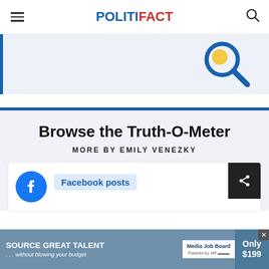POLITIFACT
[Figure (screenshot): Search banner with magnifying glass icon on blue/light blue background]
Browse the Truth-O-Meter
MORE BY EMILY VENEZKY
[Figure (screenshot): Card with Facebook icon and 'Facebook posts' label, share button on right]
[Figure (screenshot): Advertisement banner: SOURCE GREAT TALENT ...without blowing your budget. Media Job Board. Only $199]